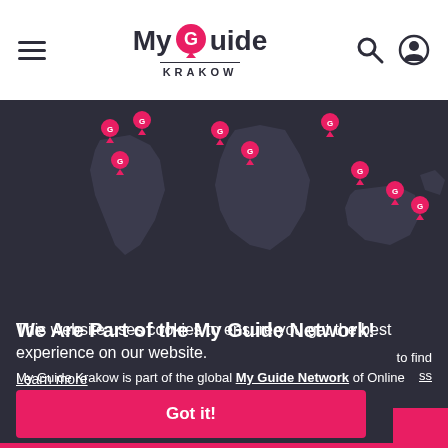My Guide Krakow
[Figure (map): World map on dark background with pink location pin markers (G logo pins) scattered across various continents including South America, Africa, Asia, and Australia]
We Are Part of the My Guide Network!
My Guide Krakow is part of the global My Guide Network of Online
This website uses cookies to ensure you get the best experience on our website.
Learn more
to find
ss
Got it!